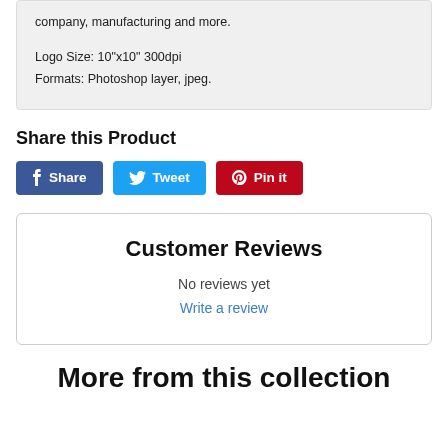company, manufacturing and more.
Logo Size: 10"x10" 300dpi
Formats: Photoshop layer, jpeg.
Share this Product
[Figure (other): Social share buttons: Facebook Share, Twitter Tweet, Pinterest Pin it]
Customer Reviews
No reviews yet
Write a review
More from this collection